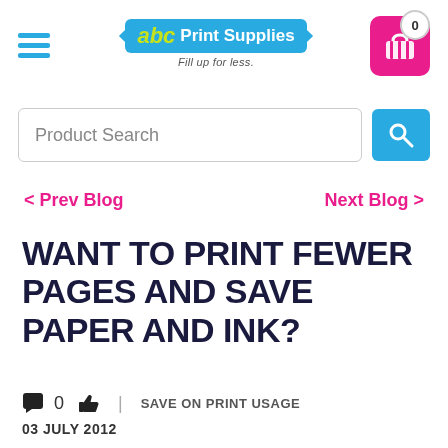[Figure (logo): abc Print Supplies logo with blue badge, yellow-green italic 'abc', white 'Print Supplies' text, and tagline 'Fill up for less.']
[Figure (screenshot): Product Search input field with blue search button magnifying glass icon]
< Prev Blog
Next Blog >
WANT TO PRINT FEWER PAGES AND SAVE PAPER AND INK?
0   |   SAVE ON PRINT USAGE
03 JULY 2012